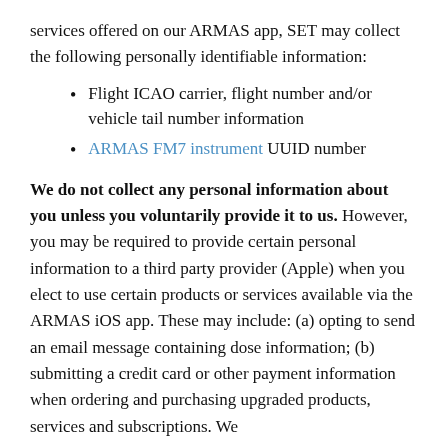services offered on our ARMAS app, SET may collect the following personally identifiable information:
Flight ICAO carrier, flight number and/or vehicle tail number information
ARMAS FM7 instrument UUID number
We do not collect any personal information about you unless you voluntarily provide it to us. However, you may be required to provide certain personal information to a third party provider (Apple) when you elect to use certain products or services available via the ARMAS iOS app. These may include: (a) opting to send an email message containing dose information; (b) submitting a credit card or other payment information when ordering and purchasing upgraded products, services and subscriptions. We